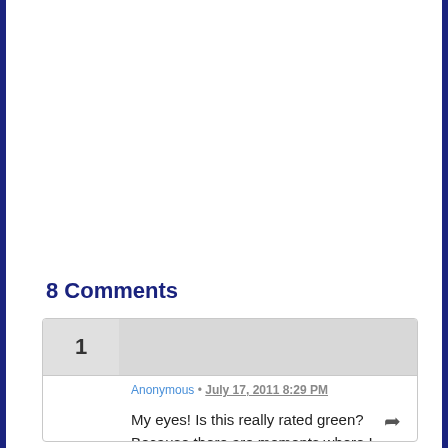8 Comments
Anonymous • July 17, 2011 8:29 PM

My eyes! Is this really rated green? Because there are moments where I hear Marty swear.